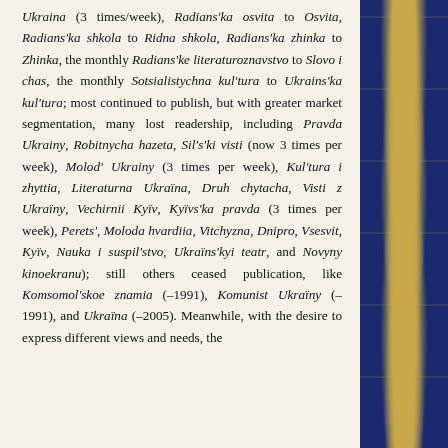Ukraina (3 times/week), Radians'ka osvita to Osvita, Radians'ka shkola to Ridna shkola, Radians'ka zhinka to Zhinka, the monthly Radians'ke literaturoznavstvo to Slovo i chas, the monthly Sotsialistychna kul'tura to Ukrains'ka kul'tura; most continued to publish, but with greater market segmentation, many lost readership, including Pravda Ukrainy, Robitnycha hazeta, Sil's'ki visti (now 3 times per week), Molod' Ukrainy (3 times per week), Kul'tura i zhyttia, Literaturna Ukraïna, Druh chytacha, Visti z Ukraïny, Vechirnii Kyïv, Kyïvs'ka pravda (3 times per week), Perets', Moloda hvardiia, Vitchyzna, Dnipro, Vsesvit, Kyïv, Nauka i suspil'stvo, Ukraïns'kyi teatr, and Novyny kinoekranu); still others ceased publication, like Komsomol'skoe znamia (–1991), Komunist Ukraïny (–1991), and Ukraïna (–2005). Meanwhile, with the desire to express different views and needs, the